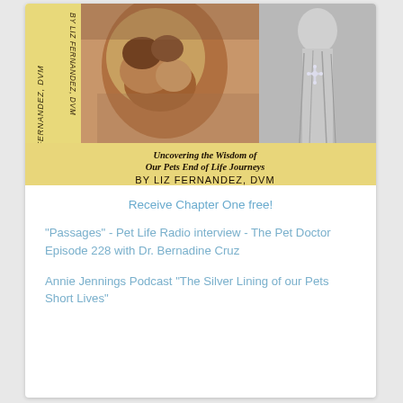[Figure (illustration): Book cover image showing a painting of a dog with a religious figure/statue. Yellow lower section with italic subtitle 'Uncovering the Wisdom of Our Pets End of Life Journeys' and author name 'BY LIZ FERNANDEZ, DVM'. Vertical text 'BY LIZ FERNANDEZ, DVM' on left spine.]
Receive Chapter One free!
"Passages" - Pet Life Radio interview - The Pet Doctor Episode 228 with Dr. Bernadine Cruz
Annie Jennings Podcast "The Silver Lining of our Pets Short Lives"